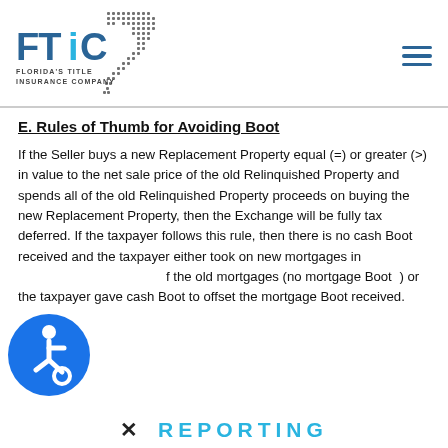[Figure (logo): Florida's Title Insurance Company (FTIC) logo with stylized Florida state shape made of dots and FTIC text in blue]
E. Rules of Thumb for Avoiding Boot
If the Seller buys a new Replacement Property equal (=) or greater (>) in value to the net sale price of the old Relinquished Property and spends all of the old Relinquished Property proceeds on buying the new Replacement Property, then the Exchange will be fully tax deferred. If the taxpayer follows this rule, then there is no cash Boot received and the taxpayer either took on new mortgages in excess of the old mortgages (no mortgage Boot received) or the taxpayer gave cash Boot to offset the mortgage Boot received.
[Figure (illustration): Blue circular accessibility icon (wheelchair user symbol)]
X REPORTING